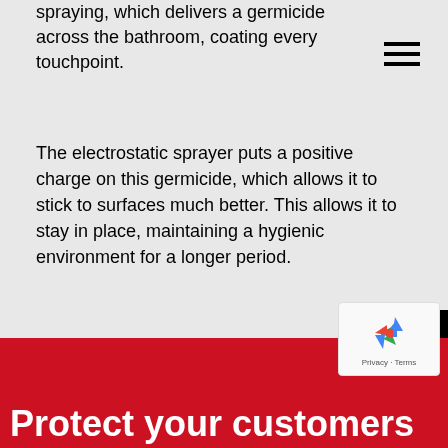spraying, which delivers a germicide across the bathroom, coating every touchpoint.
The electrostatic sprayer puts a positive charge on this germicide, which allows it to stick to surfaces much better. This allows it to stay in place, maintaining a hygienic environment for a longer period.
[Figure (other): Black vertical banner on the right side reading CORPORATE SITE in white bold vertical text]
[Figure (other): reCAPTCHA badge with recycling-style logo and Privacy · Terms text]
Protect your customers